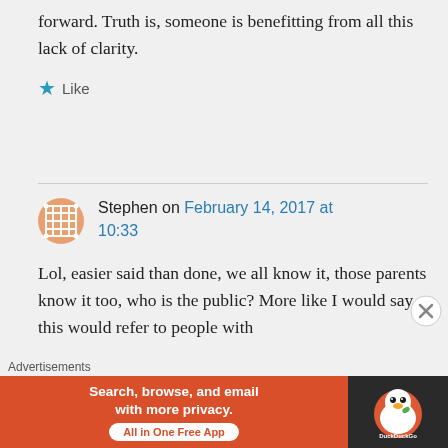forward. Truth is, someone is benefitting from all this lack of clarity.
Like
Stephen on February 14, 2017 at 10:33
Lol, easier said than done, we all know it, those parents know it too, who is the public? More like I would say this would refer to people with
Advertisements
[Figure (screenshot): DuckDuckGo advertisement banner: 'Search, browse, and email with more privacy. All in One Free App' with DuckDuckGo logo on dark background.]